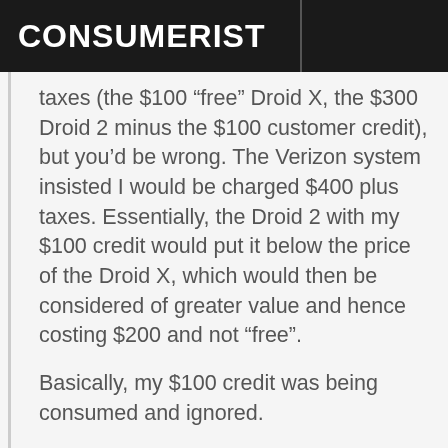CONSUMERIST
taxes (the $100 “free” Droid X, the $300 Droid 2 minus the $100 customer credit), but you’d be wrong. The Verizon system insisted I would be charged $400 plus taxes. Essentially, the Droid 2 with my $100 credit would put it below the price of the Droid X, which would then be considered of greater value and hence costing $200 and not “free”.
Basically, my $100 credit was being consumed and ignored.
I had to explain the correct math to the employee and after five minutes of back-